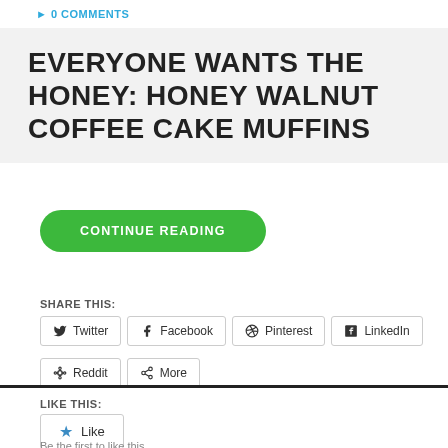0 COMMENTS
EVERYONE WANTS THE HONEY: HONEY WALNUT COFFEE CAKE MUFFINS
CONTINUE READING
SHARE THIS:
Twitter  Facebook  Pinterest  LinkedIn
Reddit  More
LIKE THIS:
Like
Be the first to like this.